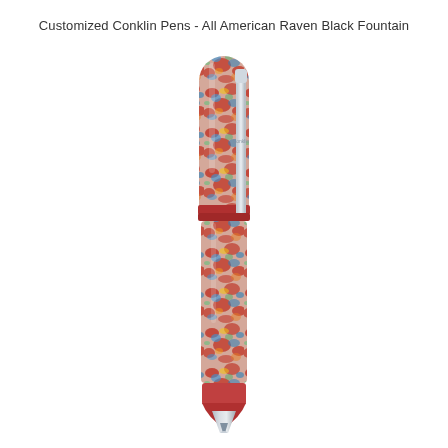Customized Conklin Pens - All American Raven Black Fountain
[Figure (photo): A Conklin brand fountain pen with a multicolored marbled pattern (red, blue, yellow, green swirls) on the barrel and cap, with a silver clip engraved with 'Conklin' and a silver nib tip. The pen is shown vertically oriented, slightly diagonal, on a white background.]